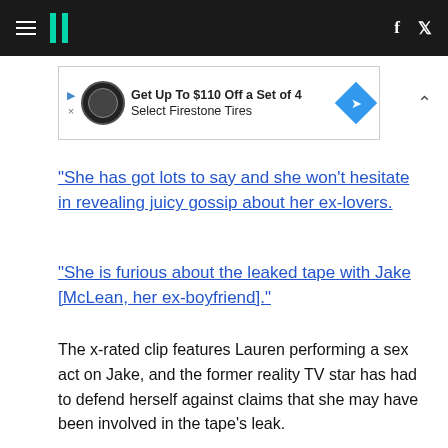HuffPost navigation header with hamburger menu, logo, social icons (f, Twitter)
[Figure (screenshot): Advertisement banner: Get Up To $110 Off a Set of 4 Select Firestone Tires with Firestone auto logo and blue direction sign diamond icon]
“She has got lots to say and she won’t hesitate in revealing juicy gossip about her ex-lovers.
“She is furious about the leaked tape with Jake [McLean, her ex-boyfriend].”
The x-rated clip features Lauren performing a sex act on Jake, and the former reality TV star has had to defend herself against claims that she may have been involved in the tape’s leak.